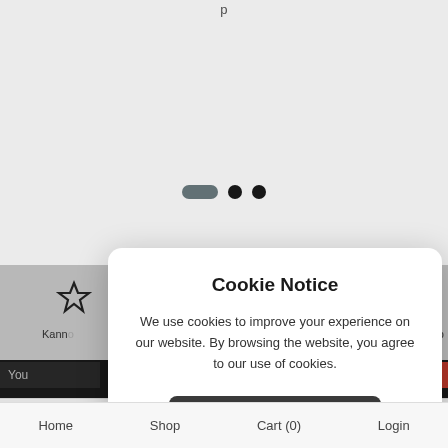[Figure (screenshot): Website background showing carousel indicator dots (one pill-shaped active dot and two circle dots), a gray feature section with icons (star, question mark, mobile device), partial navigation labels (Kanne..., help), a dark nav bar with partial text 'You', and a red button partially visible. A cookie notice modal overlays the page.]
Cookie Notice
We use cookies to improve your experience on our website. By browsing the website, you agree to our use of cookies.
Yes, I Accept
Home    Shop    Cart (0)    Login